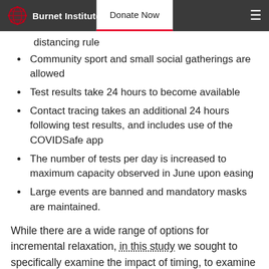Burnet Institute | Donate Now
distancing rule
Community sport and small social gatherings are allowed
Test results take 24 hours to become available
Contact tracing takes an additional 24 hours following test results, and includes use of the COVIDSafe app
The number of tests per day is increased to maximum capacity observed in June upon easing
Large events are banned and mandatory masks are maintained.
While there are a wide range of options for incremental relaxation, in this study we sought to specifically examine the impact of timing, to examine the relationship between the degree of containment prior to relaxation and